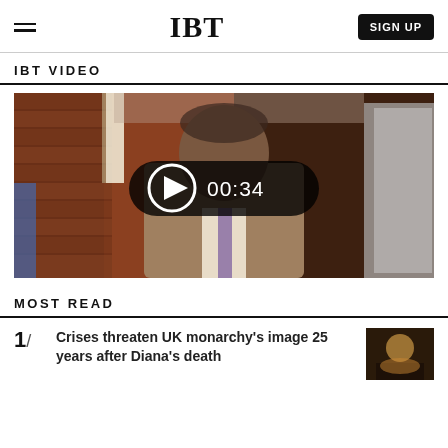IBT | SIGN UP
IBT VIDEO
[Figure (screenshot): Video thumbnail showing a man in a grey suit and purple tie standing in a hallway with brick walls, with a play button overlay showing duration 00:34]
MOST READ
1/ Crises threaten UK monarchy's image 25 years after Diana's death